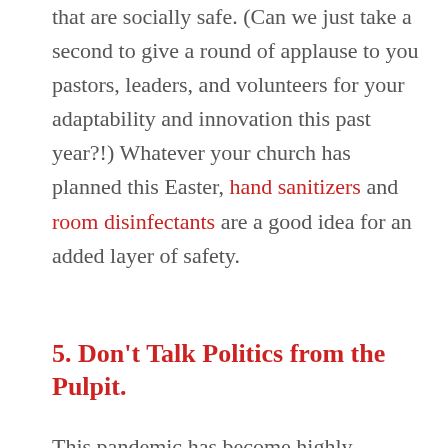that are socially safe. (Can we just take a second to give a round of applause to you pastors, leaders, and volunteers for your adaptability and innovation this past year?!) Whatever your church has planned this Easter, hand sanitizers and room disinfectants are a good idea for an added layer of safety.
5. Don't Talk Politics from the Pulpit.
This pandemic has become highly